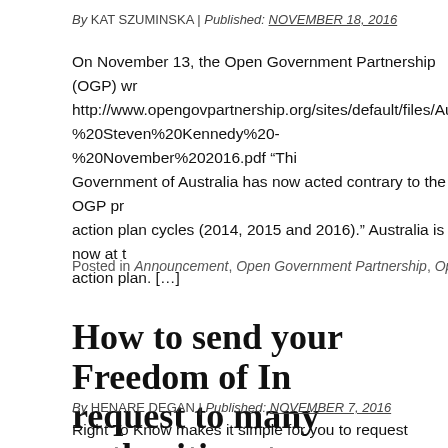By KAT SZUMINSKA | Published: NOVEMBER 18, 2016
On November 13, the Open Government Partnership (OGP) wr... http://www.opengovpartnership.org/sites/default/files/Australia%... %20Steven%20Kennedy%20-%20November%202016.pdf “Thi... Government of Australia has now acted contrary to the OGP pr... action plan cycles (2014, 2015 and 2016).” Australia is now at t... action plan. […]
Posted in Announcement, Open Government Partnership, OpenAustralia
How to send your Freedom of Information request to many authorities at once
By HENARE DEGAN | Published: NOVEMBER 7, 2016
Right To Know makes it simple for you to request information from Australia. Sometimes you might want to ask the same question to authorities at once. Right To Know can help you there too, with